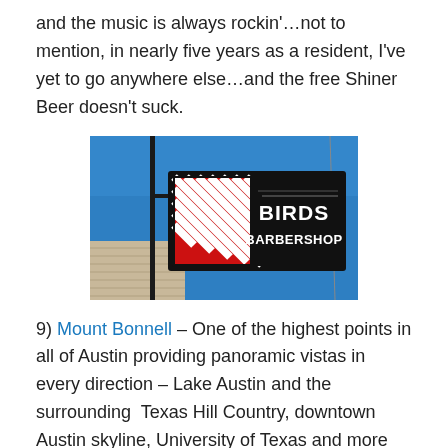and the music is always rockin'…not to mention, in nearly five years as a resident, I've yet to go anywhere else…and the free Shiner Beer doesn't suck.
[Figure (photo): Photograph of Birds Barbershop sign against a blue sky, featuring red and white stripes and the shop name on a dark background.]
9) Mount Bonnell – One of the highest points in all of Austin providing panoramic vistas in every direction – Lake Austin and the surrounding  Texas Hill Country, downtown Austin skyline, University of Texas and more